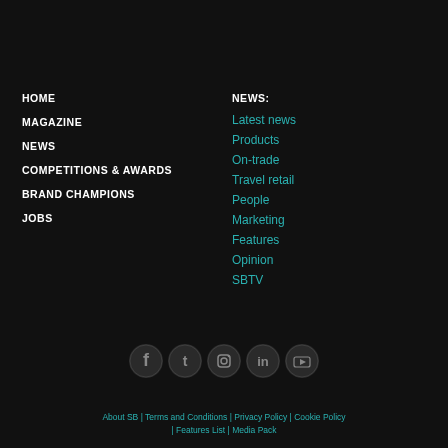HOME
MAGAZINE
NEWS
COMPETITIONS & AWARDS
BRAND CHAMPIONS
JOBS
NEWS:
Latest news
Products
On-trade
Travel retail
People
Marketing
Features
Opinion
SBTV
[Figure (infographic): Social media icons: Facebook, Twitter, Instagram, LinkedIn, YouTube]
About SB | Terms and Conditions | Privacy Policy | Cookie Policy | Features List | Media Pack